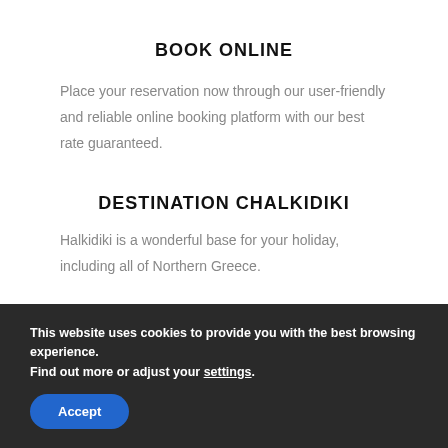BOOK ONLINE
Place your reservation now through our user-friendly and reliable online booking platform with our best rate guaranteed.
DESTINATION CHALKIDIKI
Halkidiki is a wonderful base for your holiday, including all of Northern Greece.
This website uses cookies to provide you with the best browsing experience. Find out more or adjust your settings.
Accept